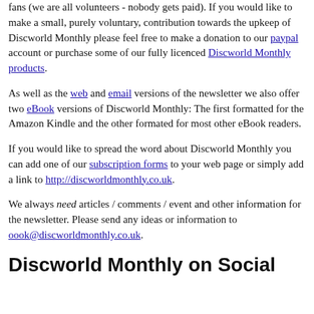fans (we are all volunteers - nobody gets paid). If you would like to make a small, purely voluntary, contribution towards the upkeep of Discworld Monthly please feel free to make a donation to our paypal account or purchase some of our fully licenced Discworld Monthly products.
As well as the web and email versions of the newsletter we also offer two eBook versions of Discworld Monthly: The first formatted for the Amazon Kindle and the other formated for most other eBook readers.
If you would like to spread the word about Discworld Monthly you can add one of our subscription forms to your web page or simply add a link to http://discworldmonthly.co.uk.
We always need articles / comments / event and other information for the newsletter. Please send any ideas or information to oook@discworldmonthly.co.uk.
Discworld Monthly on Social